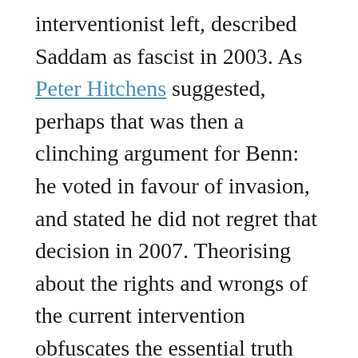interventionist left, described Saddam as fascist in 2003. As Peter Hitchens suggested, perhaps that was then a clinching argument for Benn: he voted in favour of invasion, and stated he did not regret that decision in 2007. Theorising about the rights and wrongs of the current intervention obfuscates the essential truth that Iraq and Syria are in such a state of bloody chaos nobody really knows what might happen. What we do know is that wars in Afghanistan, Iraq and Libya have cost hundreds of thousands of lives, for – at the very best – ambiguous results. We were encouraged to bomb Assad in 2013; we are now bombing his opponents. In a crisis as murky as this, rhetoric doubting the integrity of political comment